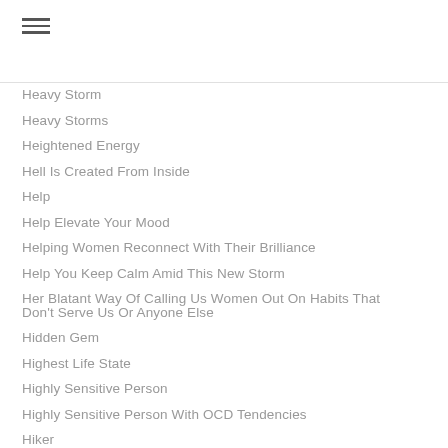☰
Heavy Storm
Heavy Storms
Heightened Energy
Hell Is Created From Inside
Help
Help Elevate Your Mood
Helping Women Reconnect With Their Brilliance
Help You Keep Calm Amid This New Storm
Her Blatant Way Of Calling Us Women Out On Habits That Don't Serve Us Or Anyone Else
Hidden Gem
Highest Life State
Highly Sensitive Person
Highly Sensitive Person With OCD Tendencies
Hiker
Hold It In The Palm Of My Hand
Hold On
Hold On To Hope